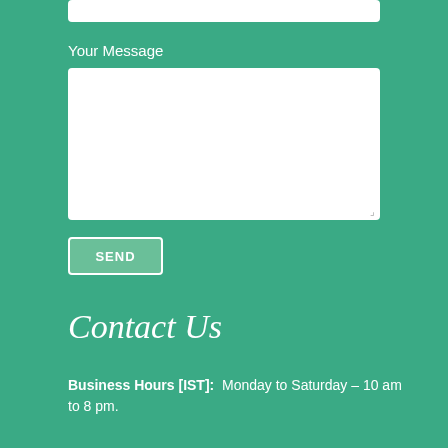[Figure (screenshot): White input field box at the top of the page]
Your Message
[Figure (screenshot): White textarea box for message input with resize handle]
SEND
Contact Us
Business Hours [IST]:  Monday to Saturday – 10 am to 8 pm.